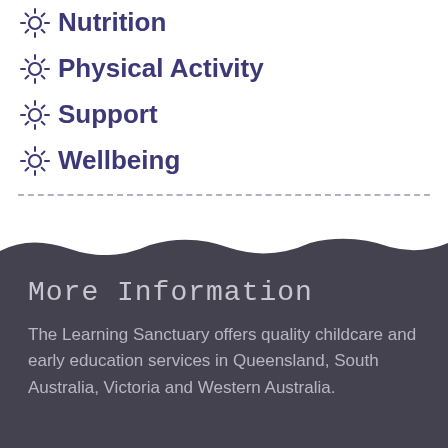Nutrition
Physical Activity
Support
Wellbeing
More Information
The Learning Sanctuary offers quality childcare and early education services in Queensland, South Australia, Victoria and Western Australia.